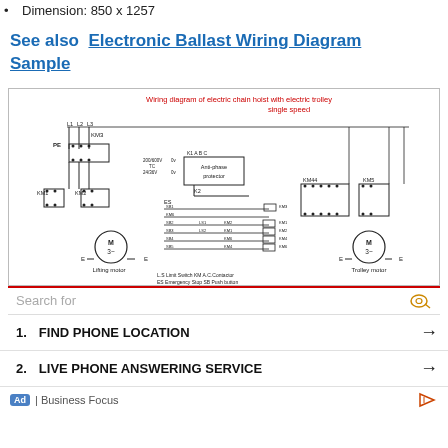Dimension: 850 x 1257
See also  Electronic Ballast Wiring Diagram Sample
[Figure (schematic): Wiring diagram of electric chain hoist with electric trolley single speed. Shows lifting motor (M 3~) on left and trolley motor (M 3~) on right, with contactors KM1, KM2, KM3, KM44, KM5, Anti-phase protector K2, limit switches LS1/LS2, emergency stop ES, push buttons SB1-SB5, and A.C. contactors. Legend: L.S Limit Switch, KM A.C.Contactor, ES Emergency Stop, SB Push button.]
Search for
1.  FIND PHONE LOCATION
2.  LIVE PHONE ANSWERING SERVICE
Ad | Business Focus